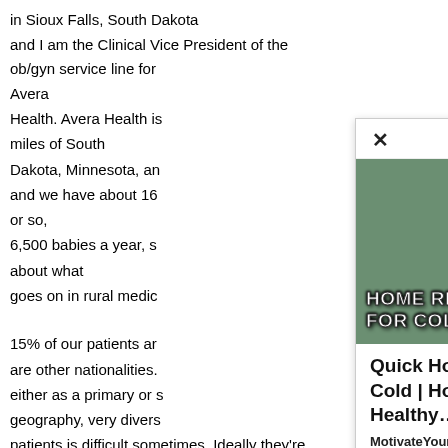in Sioux Falls, South Dakota
and I am the Clinical Vice President of the ob/gyn service line for Avera
Health. Avera Health is [partially obscured] miles of South
Dakota, Minnesota, an[d] and we have about 16[00]
or so,
6,500 babies a year, s[o] about what
goes on in rural medic[ine]

15% of our patients ar[e]
are other nationalities.
either as a primary or [secondary]
geography, very divers[e]
patients is difficult sometimes. Ideally they're low risk, they have no
medical issues, they are normal weight, they have every resource
available to
[Figure (screenshot): Popup overlay showing 'MORE STORIES' panel with an article about Quick Home Remedy For Cough and Cold. Contains a photo of a tea cup with text overlay 'HOME REMEDY FOR COLD COUGH' and article metadata from MotivateYourHealth dated July 28, 2022.]